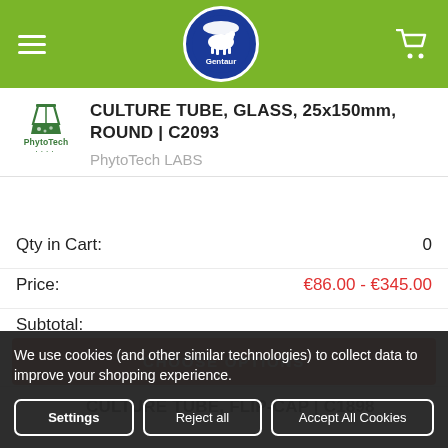Gentaur — navigation header with logo, hamburger menu, cart icon
CULTURE TUBE, GLASS, 25x150mm, ROUND | C2093
PhytoTech LABS
Qty in Cart: 0
Price: €86.00 - €345.00
Subtotal:
CHOOSE OPTIONS
CULTURE TUBE, FLIP-CAP | C1898
We use cookies (and other similar technologies) to collect data to improve your shopping experience.
Settings
Reject all
Accept All Cookies